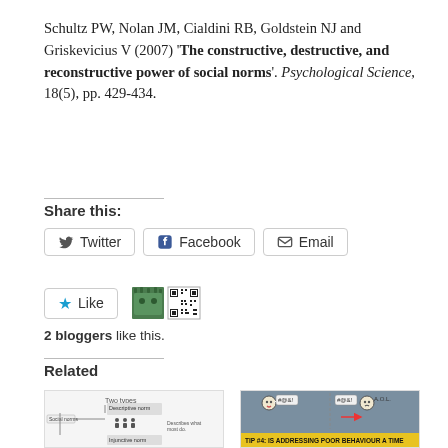Schultz PW, Nolan JM, Cialdini RB, Goldstein NJ and Griskevicius V (2007) 'The constructive, destructive, and reconstructive power of social norms'. Psychological Science, 18(5), pp. 429-434.
Share this:
Twitter  Facebook  Email
Like  [avatars]  2 bloggers like this.
Related
[Figure (illustration): Thumbnail image showing a diagram about social norms with 'Two types' label and descriptive norms and injunctive norms branches]
[Figure (photo): Thumbnail image showing stick figures with speech bubbles (#@&!) and a yellow banner reading 'TIP #4: IS ADDRESSING POOR BEHAVIOUR A TIME...']